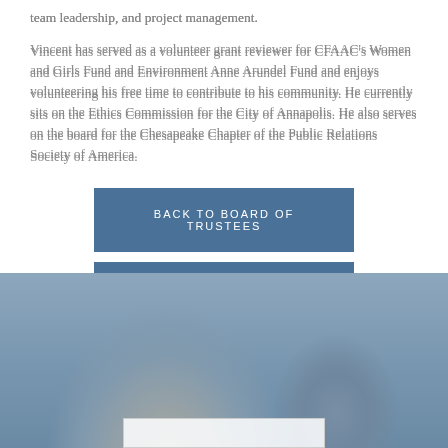team leadership, and project management.
Vincent has served as a volunteer grant reviewer for CFAAC's Women and Girls Fund and Environment Anne Arundel Fund and enjoys volunteering his free time to contribute to his community. He currently sits on the Ethics Commission for the City of Annapolis. He also serves on the board for the Chesapeake Chapter of the Public Relations Society of America.
BACK TO BOARD OF TRUSTEES
[Figure (photo): A blurred/soft-focus photo of a young woman with blonde hair in the foreground and another person in the background, with blue-gray tones. A white partially visible box appears at the bottom.]